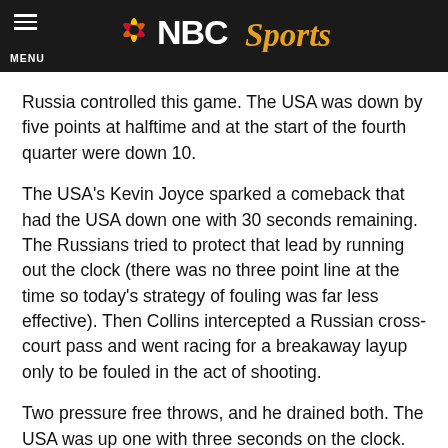NBC Sports
Russia controlled this game. The USA was down by five points at halftime and at the start of the fourth quarter were down 10.
The USA's Kevin Joyce sparked a comeback that had the USA down one with 30 seconds remaining. The Russians tried to protect that lead by running out the clock (there was no three point line at the time so today's strategy of fouling was far less effective). Then Collins intercepted a Russian cross-court pass and went racing for a breakaway layup only to be fouled in the act of shooting.
Two pressure free throws, and he drained both. The USA was up one with three seconds on the clock.
The Russians inbounded the ball then with one second left the referees stopped the game. They gave in to